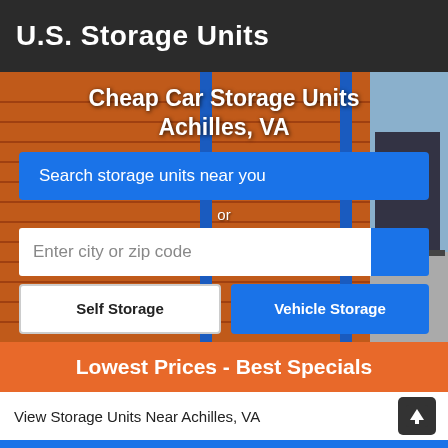U.S. Storage Units
Cheap Car Storage Units Achilles, VA
Search storage units near you
or
Enter city or zip code
Self Storage
Vehicle Storage
Lowest Prices - Best Specials
View Storage Units Near Achilles, VA
Reserve Achilles storage units for FREE, no credit card is required. Lock in your low price. No obligation